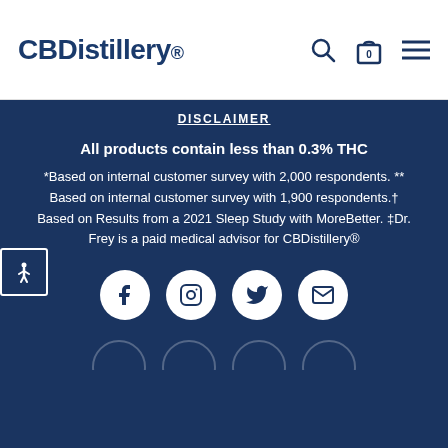CBDistillery.
DISCLAIMER
All products contain less than 0.3% THC
*Based on internal customer survey with 2,000 respondents. ** Based on internal customer survey with 1,900 respondents.† Based on Results from a 2021 Sleep Study with MoreBetter. ‡Dr. Frey is a paid medical advisor for CBDistillery®
[Figure (illustration): Social media icons: Facebook, Instagram, Twitter, Email in white circles on dark blue background]
[Figure (illustration): Partially visible circular icons at the bottom of the page]